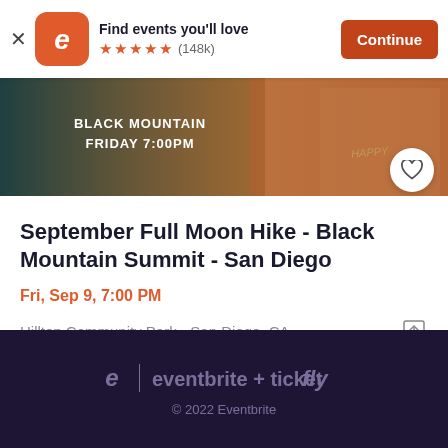[Figure (screenshot): Eventbrite app top banner with logo, 'Find events you'll love' text, 5 star rating (148k reviews), and Continue button]
[Figure (photo): Event banner image showing Black Mountain, Friday 7:00PM text on dark teal background, with person wearing 'HAPPY' shirt on right side]
September Full Moon Hike - Black Mountain Summit - San Diego
Fri, Sep 9, 7:00 PM
Hilltop Community Park • San Diego, CA
eventbrite + ticketfly
© 2022 Eventbrite